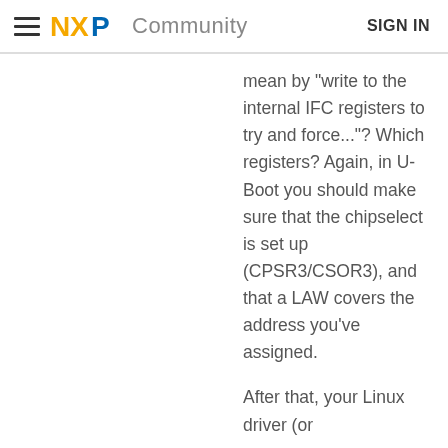NXP Community  SIGN IN
mean by "write to the internal IFC registers to try and force..."? Which registers? Again, in U-Boot you should make sure that the chipselect is set up (CPSR3/CSOR3), and that a LAW covers the address you've assigned.
After that, your Linux driver (or